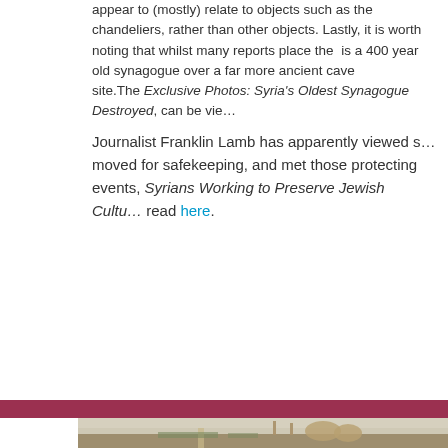appear to (mostly) relate to objects such as the chandeliers, rather than other objects. Lastly, it is worth noting that whilst many reports place the synagogue is a 400 year old synagogue over a far more ancient cave site. The Exclusive Photos: Syria's Oldest Synagogue Destroyed, can be vi… Journalist Franklin Lamb has apparently viewed s… moved for safekeeping, and met those protecting … events, Syrians Working to Preserve Jewish Cultu… read here.
[Figure (photo): Aerial/elevated view of a Middle Eastern city showing a wide road or canal leading toward a large ornate mosque or religious building with blue domes, surrounded by trees and urban infrastructure under a hazy sky.]